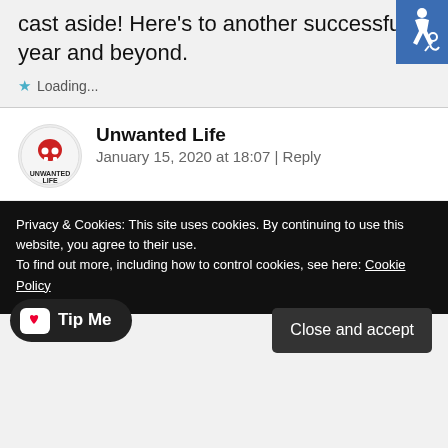cast aside! Here's to another successful year and beyond.
Loading...
[Figure (logo): Blue accessibility icon button with wheelchair symbol]
Unwanted Life
January 15, 2020 at 18:07 | Reply
[Figure (logo): Unwanted Life blog logo - skull with UNWANTED LIFE text]
Privacy & Cookies: This site uses cookies. By continuing to use this website, you agree to their use.
To find out more, including how to control cookies, see here: Cookie Policy
Close and accept
Tip Me